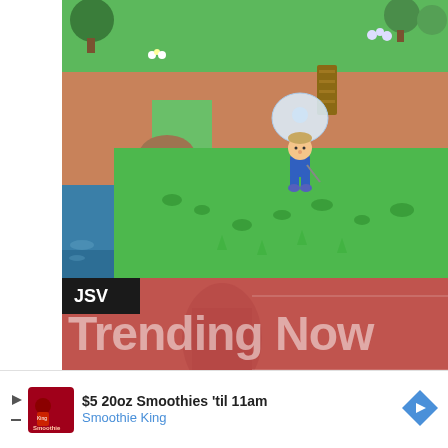[Figure (screenshot): Animal Crossing: New Horizons gameplay screenshot showing a character holding a large round bubble/net on a grassy island with cliffs, rocks, water, and vegetation]
[Figure (screenshot): JSV Trending Now on Gamrie banner with red/pink background and semi-transparent large white text]
$5 20oz Smoothies 'til 11am
Smoothie King